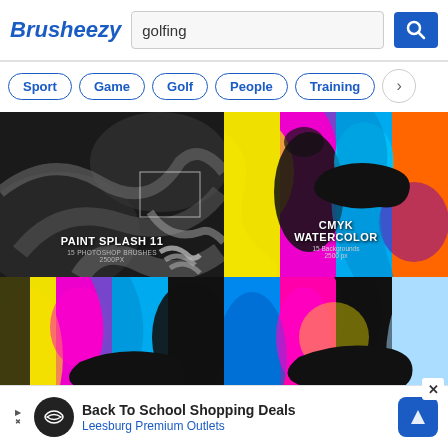Brusheezy
golfing
Sport
Game
Golf
People
Training
[Figure (photo): Paint Splash 11 - 15 Photoshop Brushes 2500px - black and white paint splash brush preview]
[Figure (photo): CMYK Watercolor - 15 Backgrounds 2500px - colorful CMYK watercolor abstract backgrounds]
[Figure (photo): CMYK Watercolor 2 - 15 Backgrounds 2500px - colorful CMYK watercolor abstract backgrounds]
[Figure (photo): CMYK Watercolor 3 - 15 Backgrounds 2500px - colorful CMYK watercolor abstract backgrounds]
[Figure (screenshot): Partial thumbnails of additional items at the bottom]
Back To School Shopping Deals
Leesburg Premium Outlets